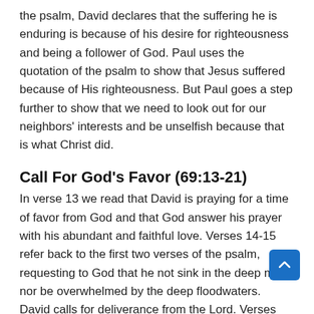the psalm, David declares that the suffering he is enduring is because of his desire for righteousness and being a follower of God. Paul uses the quotation of the psalm to show that Jesus suffered because of His righteousness. But Paul goes a step further to show that we need to look out for our neighbors' interests and be unselfish because that is what Christ did.
Call For God's Favor (69:13-21)
In verse 13 we read that David is praying for a time of favor from God and that God answer his prayer with his abundant and faithful love. Verses 14-15 refer back to the first two verses of the psalm, requesting to God that he not sink in the deep mud nor be overwhelmed by the deep floodwaters. David calls for deliverance from the Lord. Verses 19-21 describe the shame and insults that David experiences.